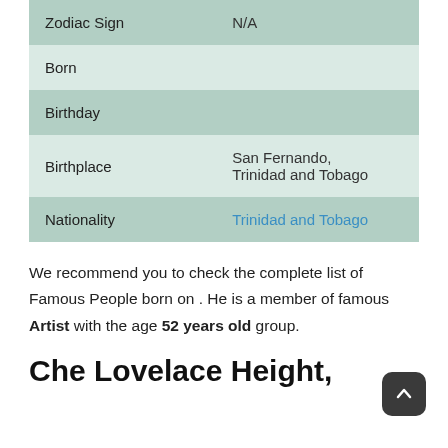| Zodiac Sign | N/A |
| Born |  |
| Birthday |  |
| Birthplace | San Fernando, Trinidad and Tobago |
| Nationality | Trinidad and Tobago |
We recommend you to check the complete list of Famous People born on . He is a member of famous Artist with the age 52 years old group.
Che Lovelace Height,